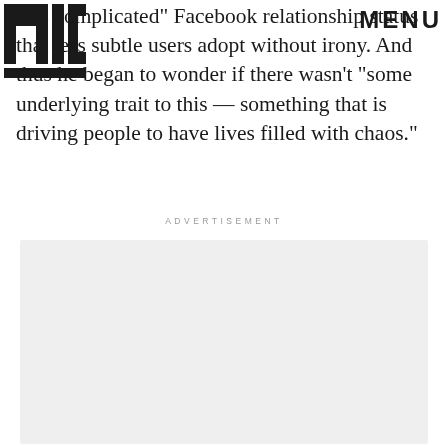MIC | MENU
"it's complicated" Facebook relationship status that less subtle users adopt without irony. And thus he began to wonder if there wasn't "some underlying trait to this — something that is driving people to have lives filled with chaos."
ADVERTISEMENT